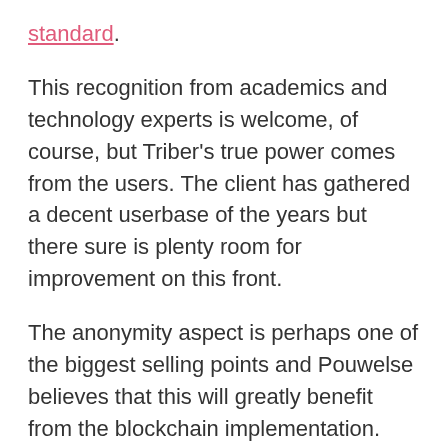standard. This recognition from academics and technology experts is welcome, of course, but Triber's true power comes from the users. The client has gathered a decent userbase of the years but there sure is plenty room for improvement on this front.
The anonymity aspect is perhaps one of the biggest selling points and Pouwelse believes that this will greatly benefit from the blockchain implementation.
Triber provides users with pseudo anonymity by routing the transfers through other users. However, this means that the amount of bandwith used by the